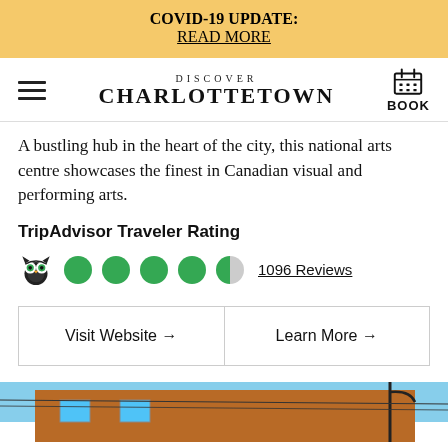COVID-19 UPDATE: READ MORE
DISCOVER CHARLOTTETOWN — BOOK
A bustling hub in the heart of the city, this national arts centre showcases the finest in Canadian visual and performing arts.
TripAdvisor Traveler Rating
[Figure (infographic): TripAdvisor owl logo with 4.5 green circle star rating and '1096 Reviews' link]
Visit Website →
Learn More →
[Figure (photo): Partial view of a brick building with street lamp against a blue sky]